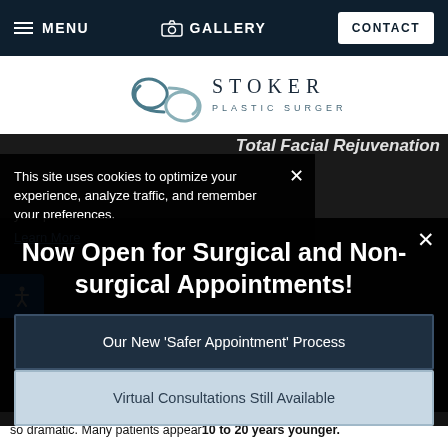MENU   GALLERY   CONTACT
[Figure (logo): Stoker Plastic Surgery logo with stylized 'S' monogram in teal/grey and text 'STOKER PLASTIC SURGERY']
Total Facial Rejuvenation
This site uses cookies to optimize your experience, analyze traffic, and remember your preferences.
Learn More
Now Open for Surgical and Non-surgical Appointments!
Our New 'Safer Appointment' Process
Virtual Consultations Still Available
so dramatic. Many patients appear 10 to 20 years younger.